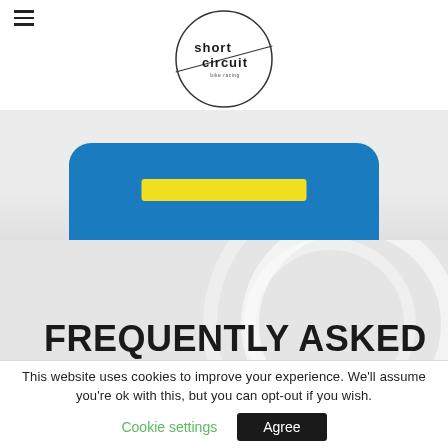[Figure (logo): Short Circuit logo: circle with 'short circuit' text and a diagonal line through it]
[Figure (illustration): Blue rounded card with yellow bar, on a light grey background — top portion of a hero/banner section]
FREQUENTLY ASKED QUESTIONS
This website uses cookies to improve your experience. We'll assume you're ok with this, but you can opt-out if you wish.
Cookie settings  Agree